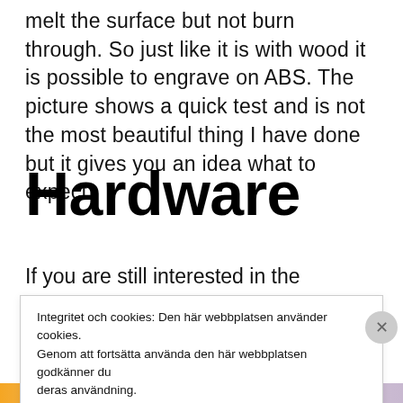melt the surface but not burn through. So just like it is with wood it is possible to engrave on ABS. The picture shows a quick test and is not the most beautiful thing I have done but it gives you an idea what to expect.
Hardware
If you are still interested in the hardware here is
Integritet och cookies: Den här webbplatsen använder cookies. Genom att fortsätta använda den här webbplatsen godkänner du deras användning.
Om du vill veta mer, inklusive hur du kontrollerar cookies, se: Cookie-policy
Stäng och acceptera